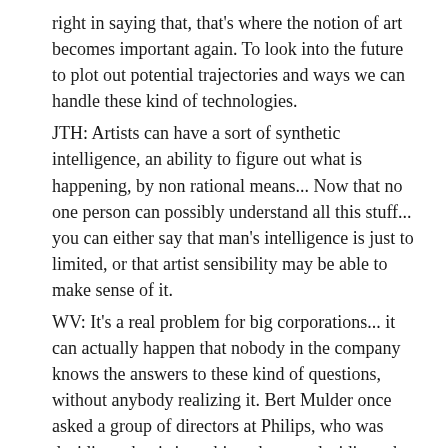right in saying that, that's where the notion of art becomes important again. To look into the future to plot out potential trajectories and ways we can handle these kind of technologies.
JTH: Artists can have a sort of synthetic intelligence, an ability to figure out what is happening, by non rational means... Now that no one person can possibly understand all this stuff... you can either say that man's intelligence is just to limited, or that artist sensibility may be able to make sense of it.
WV: It's a real problem for big corporations... it can actually happen that nobody in the company knows the answers to these kind of questions, without anybody realizing it. Bert Mulder once asked a group of directors at Philips, who was deciding what is in a chip, who was deciding what these things do... they didn't know! They are driving these developments... The actual people that run the company don't really know what the company is about. This connects with what Paul said about the notion